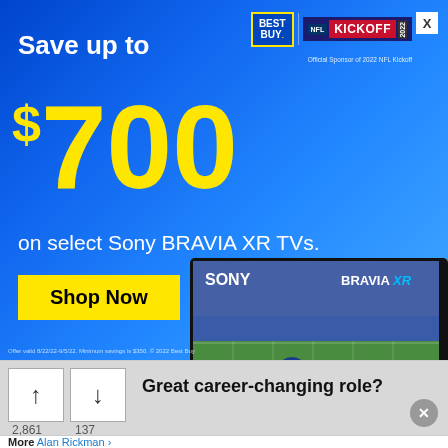[Figure (infographic): Best Buy NFL Kickoff 2022 advertisement. Save up to $700 on select Sony BRAVIA XR TVs. Blue gradient background with Sony TV showing football game.]
Save up to $700
on select Sony BRAVIA XR TVs.
Shop Now
Offer valid 8/22/22-9/5/22. Minimum savings is $350. © 2022 Best Buy
Great career-changing role?
2,861
137
More Alan Rickman ›